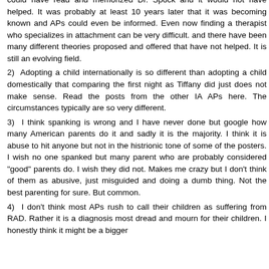could have read and memorized Dr. Spock and it would not have helped. It was probably at least 10 years later that it was becoming known and APs could even be informed. Even now finding a therapist who specializes in attachment can be very difficult. and there have been many different theories proposed and offered that have not helped. It is still an evolving field.
2) Adopting a child internationally is so different than adopting a child domestically that comparing the first night as Tiffany did just does not make sense. Read the posts from the other IA APs here. The circumstances typically are so very different.
3) I think spanking is wrong and I have never done but google how many American parents do it and sadly it is the majority. I think it is abuse to hit anyone but not in the histrionic tone of some of the posters. I wish no one spanked but many parent who are probably considered "good" parents do. I wish they did not. Makes me crazy but I don't think of them as abusive, just misguided and doing a dumb thing. Not the best parenting for sure. But common.
4) I don't think most APs rush to call their children as suffering from RAD. Rather it is a diagnosis most dread and mourn for their children. I honestly think it might be a bigger